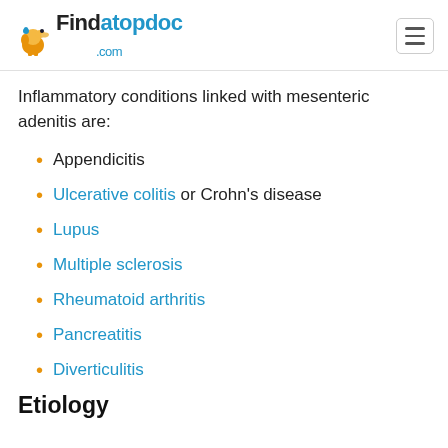Findatopdoc.com
Inflammatory conditions linked with mesenteric adenitis are:
Appendicitis
Ulcerative colitis or Crohn's disease
Lupus
Multiple sclerosis
Rheumatoid arthritis
Pancreatitis
Diverticulitis
Etiology